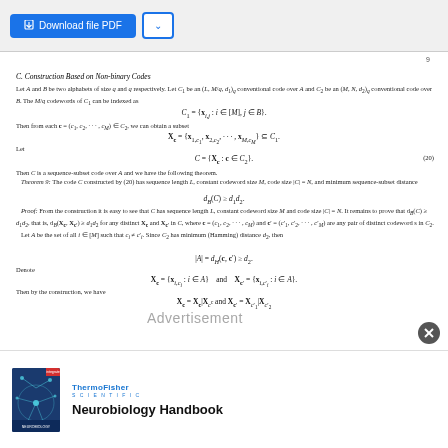Download file PDF
9
C. Construction Based on Non-binary Codes
Let A and B be two alphabets of size q and q respectively. Let C1 be an (L, M/q, d1)q conventional code over A and C2 be an (M, N, d2)q conventional code over B. The M/q codewords of C1 can be indexed as
Then from each c = (c1, c2, ..., cM) ∈ C2, we can obtain a subset
Let
Then C is a sequence-subset code over A and we have the following theorem.
   Theorem 9: The code C constructed by (20) has sequence length L, constant codeword size M, code size |C| = N, and minimum sequence-subset distance
Proof: From the construction it is easy to see that C has sequence length L, constant codeword size M and code size |C| = N. It remains to prove that dB(C) ≥ d1d2, that is, dB(Xc, Xc') ≥ d1d2 for any distinct Xc and Xc' in C, where c = (c1, c2, ..., cM) and c' = (c'1, c'2, ..., c'M) are any pair of distinct codewords in C2.
   Let A be the set of all i ∈ [M] such that ci ≠ c'i. Since C2 has minimum (Hamming) distance d2, then
Denote
Then by the construction, we have
[Figure (other): Advertisement overlay text on the document]
[Figure (photo): Neurobiology Handbook book cover - ThermoFisher Scientific advertisement with blue neural image]